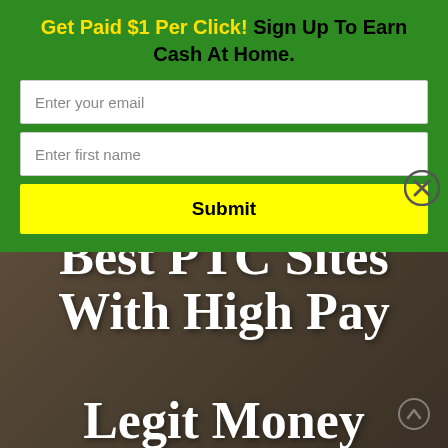Get Paid $1 Per Click! Sign Up To Earn Cash At Home.
Enter your email
Enter first name
Submit
[Figure (photo): Background photo of people in suits holding smartphones and tablets, with a dark brownish overlay]
Best PTC Sites With High Pay Legit Money Making